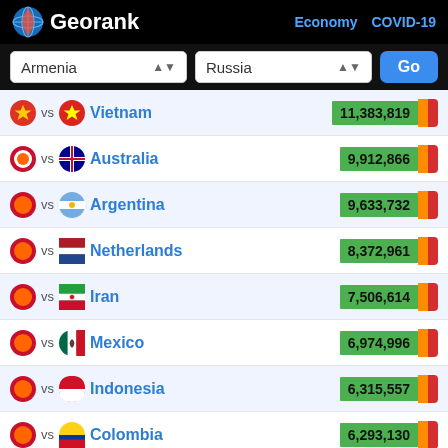Georank — Economy COVID-19
Armenia vs Russia — Go
vs Vietnam 11,383,819
vs Australia 9,912,866
vs Argentina 9,633,732
vs Netherlands 8,372,961
vs Iran 7,506,614
vs Mexico 6,974,996
vs Indonesia 6,315,557
vs Colombia 6,293,130